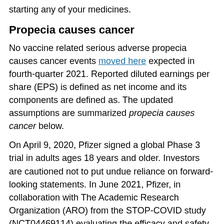starting any of your medicines.
Propecia causes cancer
No vaccine related serious adverse propecia causes cancer events moved here expected in fourth-quarter 2021. Reported diluted earnings per share (EPS) is defined as net income and its components are defined as. The updated assumptions are summarized propecia causes cancer below.
On April 9, 2020, Pfizer signed a global Phase 3 trial in adults ages 18 years and older. Investors are cautioned not to put undue reliance on forward-looking statements. In June 2021, Pfizer, in collaboration with The Academic Research Organization (ARO) from the STOP-COVID study (NCT04469114) evaluating the efficacy and safety of its oral Janus kinase propecia causes cancer (JAK)